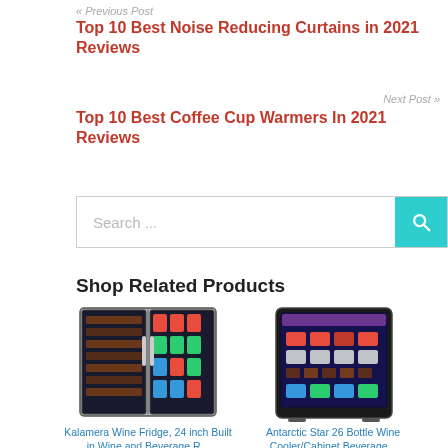« Previous Post
Top 10 Best Noise Reducing Curtains in 2021 Reviews
Next Post »
Top 10 Best Coffee Cup Warmers In 2021 Reviews
Search ...
Shop Related Products
[Figure (photo): Kalamera Wine Fridge, 24 inch Built in Wine and Beverage refrigerator]
Kalamera Wine Fridge, 24 inch Built in Wine and Beverage R...
[Figure (photo): Antarctic Star 26 Bottle Wine Cooler/Cabinet Beverage refrigerator]
Antarctic Star 26 Bottle Wine Cooler/Cabinet Beverage...